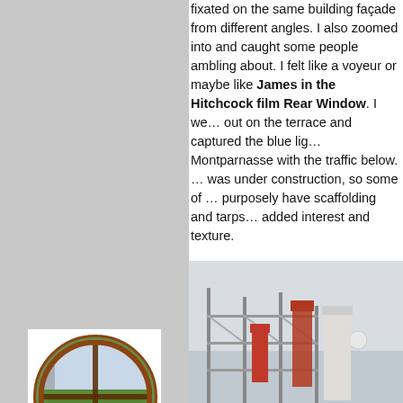fixated on the same building façade from different angles. I also zoomed into and caught some people ambling about. I felt like a voyeur or maybe like James in the Hitchcock film Rear Window. I went out on the terrace and captured the blue light of Montparnasse with the traffic below. The area was under construction, so some of the photos purposely have scaffolding and tarps for added interest and texture.

Many of the photos look identical at first and seem repetitive but if you look closer, there are subtle tone differences and the mood as the sky got darker.

I would love your feedback and com...
[Figure (photo): Etsy widget showing a circular window photo with a view of a garden/park from above, framed with a cross-shaped window divider. Below is the Etsy branding in orange.]
[Figure (photo): Rooftop construction scaffolding photo showing metal scaffolding frames, red/orange chimney or ventilation structures, and a pale sky with a visible moon.]